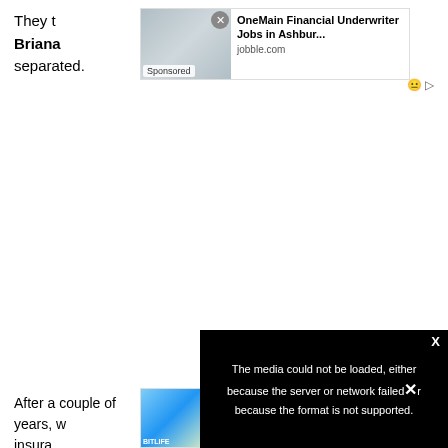They to                                                                    id
Briana                                                          to get
separated.
[Figure (screenshot): Advertisement banner for OneMain Financial Underwriter Jobs in Ashburn from jobble.com, with Sponsored label and close X button]
[Figure (screenshot): Black video error overlay with message: The media could not be loaded, either because the server or network failed or because the format is not supported. Has X close button.]
[Figure (screenshot): Bottom advertisement with Ad label, showing two game advertisements with BitLife branding]
After a couple of years, w
insura